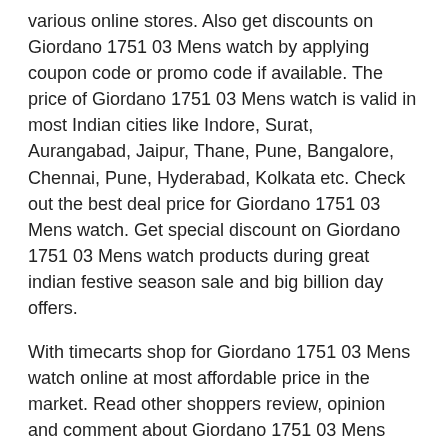various online stores. Also get discounts on Giordano 1751 03 Mens watch by applying coupon code or promo code if available. The price of Giordano 1751 03 Mens watch is valid in most Indian cities like Indore, Surat, Aurangabad, Jaipur, Thane, Pune, Bangalore, Chennai, Pune, Hyderabad, Kolkata etc. Check out the best deal price for Giordano 1751 03 Mens watch. Get special discount on Giordano 1751 03 Mens watch products during great indian festive season sale and big billion day offers.
With timecarts shop for Giordano 1751 03 Mens watch online at most affordable price in the market. Read other shoppers review, opinion and comment about Giordano 1751 03 Mens watch before making a purchase. Browse photos of Giordano 1751 03 Mens watch from other shoppers and see all the product detail, features and specifications. Online shopping price of Giordano 1751 03 Mens watch in India. For more details on product kindly refer brands terms and conditions. Warning : The Giordano 1751 03 Mens watch prices, product details and links are provided by our listed seller stores. Please let us know if you find any errors or corrections here.